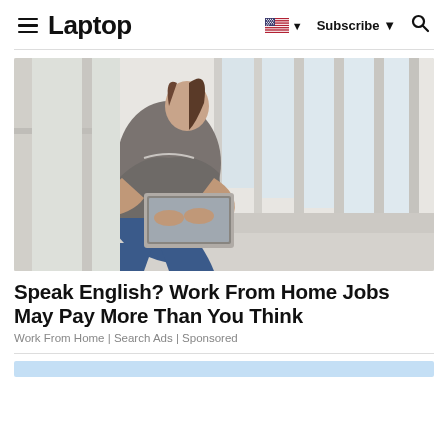Laptop
[Figure (photo): Young woman with brown hair in a ponytail sitting on a windowsill in a bright corridor, using a laptop computer. She is wearing a grey t-shirt and blue jeans.]
Speak English? Work From Home Jobs May Pay More Than You Think
Work From Home | Search Ads | Sponsored